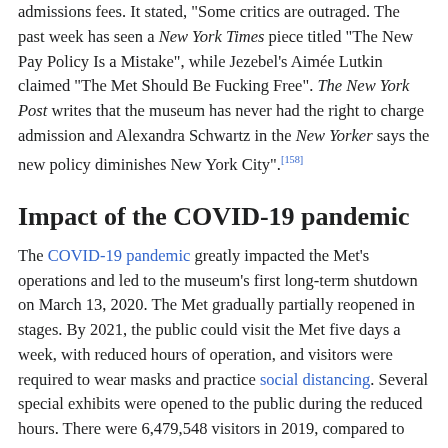admissions fees. It stated, "Some critics are outraged. The past week has seen a New York Times piece titled "The New Pay Policy Is a Mistake", while Jezebel's Aimée Lutkin claimed "The Met Should Be Fucking Free". The New York Post writes that the museum has never had the right to charge admission and Alexandra Schwartz in the New Yorker says the new policy diminishes New York City".[158]
Impact of the COVID-19 pandemic
The COVID-19 pandemic greatly impacted the Met's operations and led to the museum's first long-term shutdown on March 13, 2020. The Met gradually partially reopened in stages. By 2021, the public could visit the Met five days a week, with reduced hours of operation, and visitors were required to wear masks and practice social distancing. Several special exhibits were opened to the public during the reduced hours. There were 6,479,548 visitors in 2019, compared to 1,124,759 in 2020.[159] Other services such as the research libraries